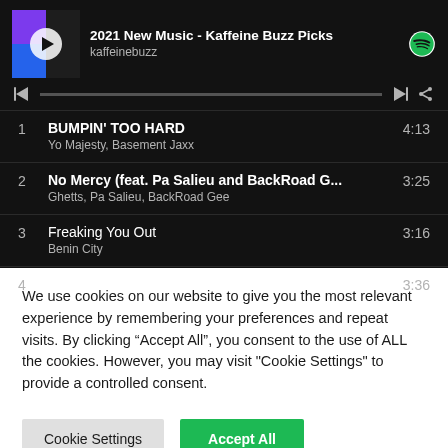[Figure (screenshot): Spotify web player showing playlist '2021 New Music - Kaffeine Buzz Picks' by kaffeinebuzz with album art, playback controls, and track listing]
1  BUMPIN' TOO HARD  4:13
Yo Majesty, Basement Jaxx
2  No Mercy (feat. Pa Salieu and BackRoad G...  3:25
Ghetts, Pa Salieu, BackRoad Gee
3  Freaking You Out  3:16
Benin City
4  Caroline  3:36
We use cookies on our website to give you the most relevant experience by remembering your preferences and repeat visits. By clicking “Accept All”, you consent to the use of ALL the cookies. However, you may visit "Cookie Settings" to provide a controlled consent.